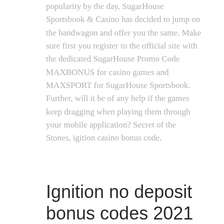popularity by the day, SugarHouse Sportsbook & Casino has decided to jump on the bandwagon and offer you the same. Make sure first you register to the official site with the dedicated SugarHouse Promo Code MAXBONUS for casino games and MAXSPORT for SugarHouse Sportsbook. Further, will it be of any help if the games keep dragging when playing them through your mobile application? Secret of the Stones, igition casino bonus code.
Ignition no deposit bonus codes 2021